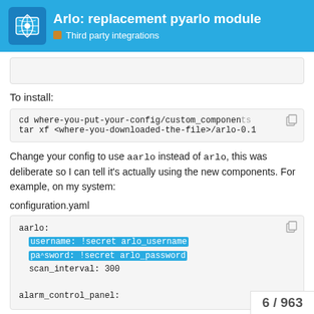Arlo: replacement pyarlo module | Third party integrations
To install:
cd where-you-put-your-config/custom_components
tar xf <where-you-downloaded-the-file>/arlo-0.1
Change your config to use aarlo instead of arlo, this was deliberate so I can tell it's actually using the new components. For example, on my system:
configuration.yaml
aarlo:
  username: !secret arlo_username
  password: !secret arlo_password
  scan_interval: 300

alarm_control_panel:
6 / 963